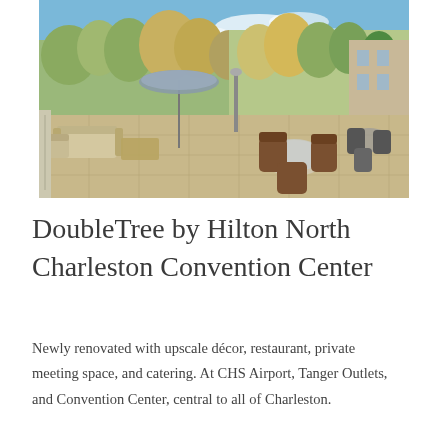[Figure (photo): Outdoor terrace/patio area of the DoubleTree by Hilton North Charleston Convention Center, featuring wicker chairs, round tables, lounge furniture with cushions, patio umbrella, and surrounded by trees under a blue sky.]
DoubleTree by Hilton North Charleston Convention Center
Newly renovated with upscale décor, restaurant, private meeting space, and catering. At CHS Airport, Tanger Outlets, and Convention Center, central to all of Charleston.